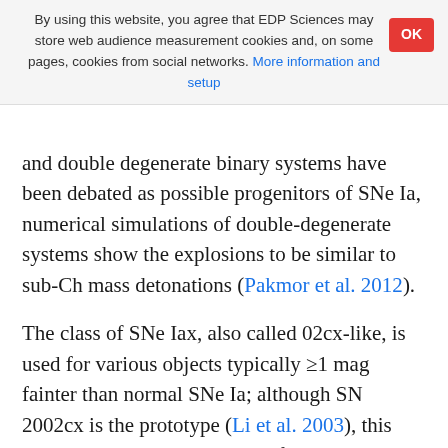By using this website, you agree that EDP Sciences may store web audience measurement cookies and, on some pages, cookies from social networks. More information and setup
and double degenerate binary systems have been debated as possible progenitors of SNe Ia, numerical simulations of double-degenerate systems show the explosions to be similar to sub-Ch mass detonations (Pakmor et al. 2012).
The class of SNe Iax, also called 02cx-like, is used for various objects typically ≥1 mag fainter than normal SNe Ia; although SN 2002cx is the prototype (Li et al. 2003), this class includes objects ranging from M_V ~ −19 to − 14 mag at peak (e.g. Miller et al. 2017). There is one detection of the companion star (McCully et al. 2014), and the host galaxies tend to be late type (Foley et al. 2013; White et al. 2015). Although several models